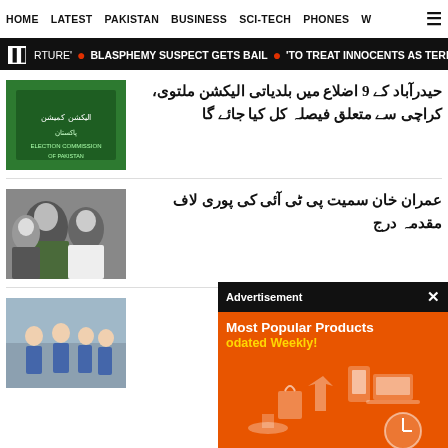HOME  LATEST  PAKISTAN  BUSINESS  SCI-TECH  PHONES  W ☰
RTURE' 🔴 BLASPHEMY SUSPECT GETS BAIL 🔴 'TO TREAT INNOCENTS AS TERROR
حیدرآباد کے 9 اضلاع میں بلدیاتی الیکشن ملتوی، کراچی سے متعلق فیصلہ کل کیا جائے گا
عمران خان سمیت پی ٹی آئی کی پوری لاف مقدمہ درج
تعلیمی اداروں تعطیل کا اعلان
[Figure (screenshot): Advertisement overlay with orange background showing 'Most Popular Products Updated Weekly!' text and product icons]